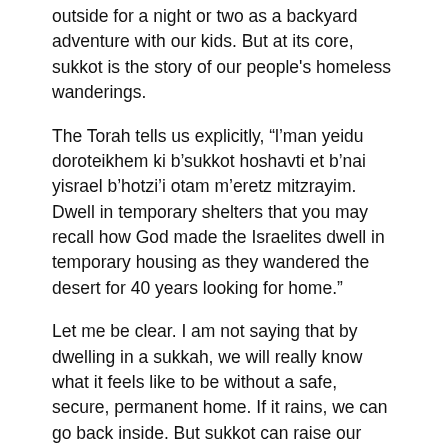outside for a night or two as a backyard adventure with our kids. But at its core, sukkot is the story of our people's homeless wanderings.
The Torah tells us explicitly, “l’man yeidu doroteikhem ki b’sukkot hoshavti et b’nai yisrael b’hotzi’i otam m’eretz mitzrayim. Dwell in temporary shelters that you may recall how God made the Israelites dwell in temporary housing as they wandered the desert for 40 years looking for home.”
Let me be clear. I am not saying that by dwelling in a sukkah, we will really know what it feels like to be without a safe, secure, permanent home. If it rains, we can go back inside. But sukkot can raise our sensitivity to a real problem facing our nation and our community.
A few Jewish sources speak specifically about housing. On Yom Kippur, we read the haftara from Isaiah who calls on us to “take the wretched poor into your homes v’aniim m’rudim tavi vayta” (Isaiah 58:7). This is not a systemic solution. It is a call for compassion and a reminder that addressing the issue is a religious duty for a Jew.